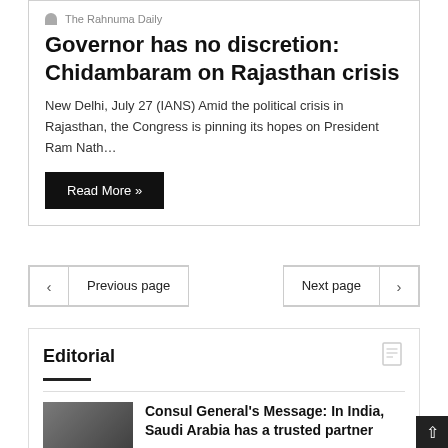The Rahnuma Daily
Governor has no discretion: Chidambaram on Rajasthan crisis
New Delhi, July 27 (IANS) Amid the political crisis in Rajasthan, the Congress is pinning its hopes on President Ram Nath…
Read More »
< Previous page
Next page >
Editorial
Consul General's Message: In India, Saudi Arabia has a trusted partner